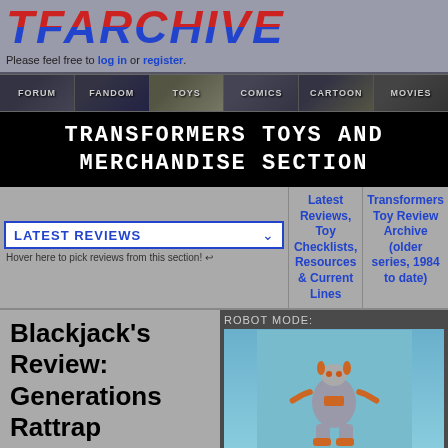TFARCHIVE
Please feel free to log in or register.
[Figure (screenshot): Navigation bar with sections: FORUM, FANDOM, TOYS, COMICS, CARTOON, MOVIES]
TRANSFORMERS TOYS AND MERCHANDISE SECTION
LATEST REVIEWS
Hover here to pick reviews from this section!
Latest Reviews, Toy Checklists, Resources & Current Lines
Transformers Toy Review Archive (older series, 1984 to date)
Blackjack's Review: Generations Rattrap
Name: Rattrap
Allegiance: Maximal